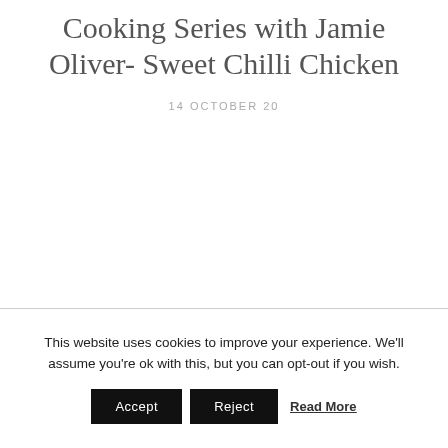Cooking Series with Jamie Oliver- Sweet Chilli Chicken
14 OCTOBER 20
This website uses cookies to improve your experience. We'll assume you're ok with this, but you can opt-out if you wish.
Accept   Reject   Read More